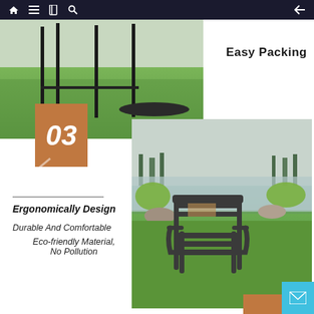Navigation bar with home, menu, book, search icons and back arrow
[Figure (photo): Outdoor photo showing black metal table legs on green grass with a black round table disc visible]
Easy Packing
[Figure (infographic): Brown/orange rectangular badge with number 03 in white bold italic font]
[Figure (photo): Outdoor park photo showing a dark grey metal slatted armchair on green grass near a waterfront with flowers and trees in background]
Ergonomically Design
Durable And Comfortable
Eco-friendly Material, No Pollution